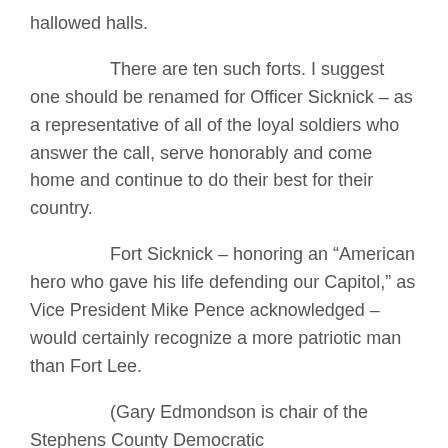hallowed halls.
There are ten such forts. I suggest one should be renamed for Officer Sicknick – as a representative of all of the loyal soldiers who answer the call, serve honorably and come home and continue to do their best for their country.
Fort Sicknick – honoring an “American hero who gave his life defending our Capitol,” as Vice President Mike Pence acknowledged – would certainly recognize a more patriotic man than Fort Lee.
(Gary Edmondson is chair of the Stephens County Democratic